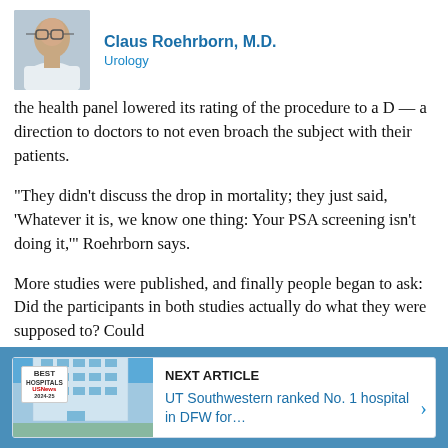[Figure (photo): Headshot photo of Claus Roehrborn, M.D., a man wearing glasses in a white coat]
Claus Roehrborn, M.D.
Urology
the health panel lowered its rating of the procedure to a D — a direction to doctors to not even broach the subject with their patients.
“They didn’t discuss the drop in mortality; they just said, ‘Whatever it is, we know one thing: Your PSA screening isn’t doing it,’” Roehrborn says.
More studies were published, and finally people began to ask: Did the participants in both studies actually do what they were supposed to? Could
NEXT ARTICLE
UT Southwestern ranked No. 1 hospital in DFW for…
[Figure (photo): Image of a hospital building (UT Southwestern) with a US News Best Hospitals badge overlay]